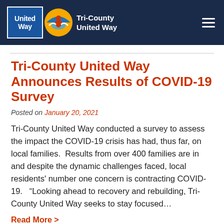Tri-County United Way
Tri-County United Way Announces Results of COVID-19 Survey
Posted on January 20, 2021
Tri-County United Way conducted a survey to assess the impact the COVID-19 crisis has had, thus far, on local families.  Results from over 400 families are in and despite the dynamic challenges faced, local residents' number one concern is contracting COVID-19.   "Looking ahead to recovery and rebuilding, Tri-County United Way seeks to stay focused…
Read More >